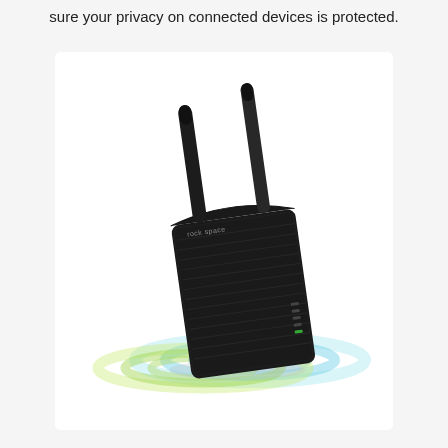sure your privacy on connected devices is protected.
[Figure (photo): A black rock space WiFi range extender/repeater with two antennas, tilted at an angle, with colorful rainbow-like WiFi signal waves (green, yellow, blue, cyan) emanating from its base, on a white background.]